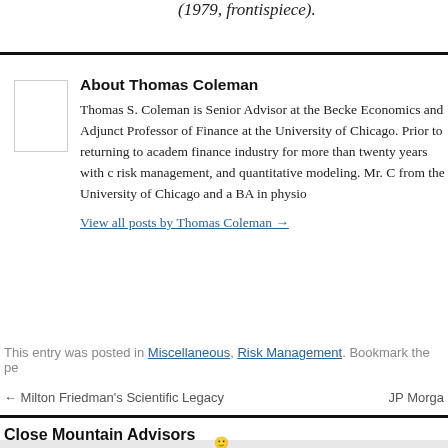(1979, frontispiece).
About Thomas Coleman
Thomas S. Coleman is Senior Advisor at the Becker Economics and Adjunct Professor of Finance at the University of Chicago. Prior to returning to academia, finance industry for more than twenty years with c risk management, and quantitative modeling. Mr. C from the University of Chicago and a BA in physio
View all posts by Thomas Coleman →
This entry was posted in Miscellaneous, Risk Management. Bookmark the pe
← Milton Friedman's Scientific Legacy
JP Morga
Close Mountain Advisors